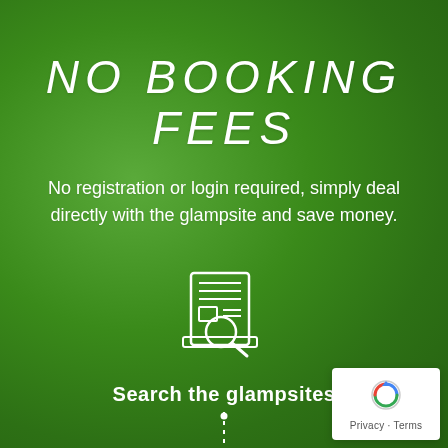NO BOOKING FEES
No registration or login required, simply deal directly with the glampsite and save money.
[Figure (illustration): White line-art icon of a document/listing with a magnifying glass, representing search functionality]
Search the glampsites
[Figure (illustration): Dashed vertical line connecting two icons]
[Figure (illustration): White line-art icon of a webpage/browser with a campsite listing]
[Figure (logo): Google reCAPTCHA badge with Privacy and Terms links]